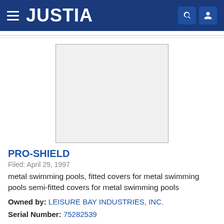JUSTIA
[Figure (other): Empty light gray placeholder box representing a trademark image for PRO-SHIELD]
PRO-SHIELD
Filed: April 29, 1997
metal swimming pools, fitted covers for metal swimming pools semi-fitted covers for metal swimming pools
Owned by: LEISURE BAY INDUSTRIES, INC.
Serial Number: 75282539